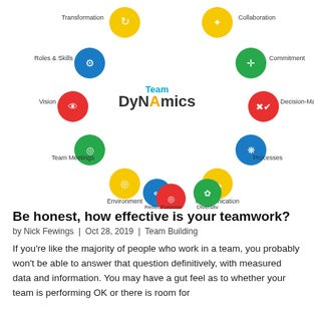[Figure (infographic): Team Dynamics circular diagram showing 12 colored circle icons arranged in a ring around the central 'Team DyNAmics' logo. Icons represent: Transformation (yellow), Collaboration (yellow), Roles & Skills (blue), Commitment (green), Vision (red), Decision-Making (red), Team Meetings (green), Processes (blue), Environment (yellow), Communication (yellow), Reflection (blue), Purpose (red), Diversity (green).]
Be honest, how effective is your teamwork?
by Nick Fewings  |  Oct 28, 2019  |  Team Building
If you're like the majority of people who work in a team, you probably won't be able to answer that question definitively, with measured data and information. You may have a gut feel as to whether your team is performing OK or there is room for improvement.